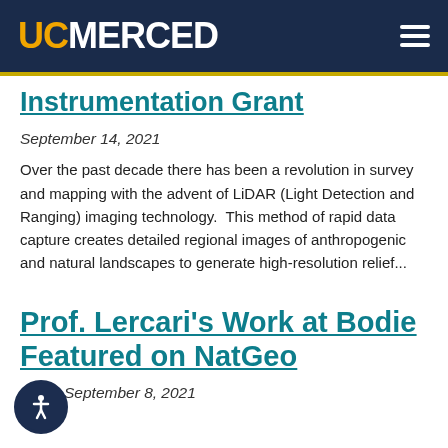UC MERCED
Instrumentation Grant
September 14, 2021
Over the past decade there has been a revolution in survey and mapping with the advent of LiDAR (Light Detection and Ranging) imaging technology.  This method of rapid data capture creates detailed regional images of anthropogenic and natural landscapes to generate high-resolution relief...
Prof. Lercari's Work at Bodie Featured on NatGeo
September 8, 2021